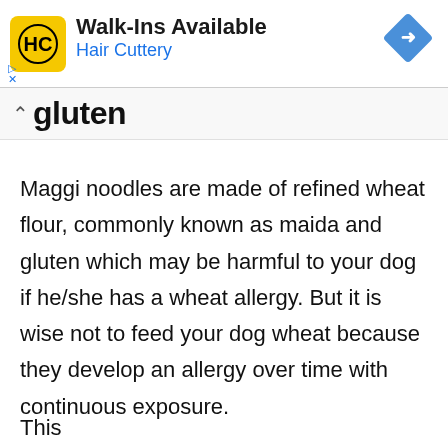[Figure (other): Hair Cuttery advertisement banner with HC logo, 'Walk-Ins Available' title, 'Hair Cuttery' subtitle in blue, and a blue navigation diamond icon on the right.]
gluten
Maggi noodles are made of refined wheat flour, commonly known as maida and gluten which may be harmful to your dog if he/she has a wheat allergy. But it is wise not to feed your dog wheat because they develop an allergy over time with continuous exposure.
This…